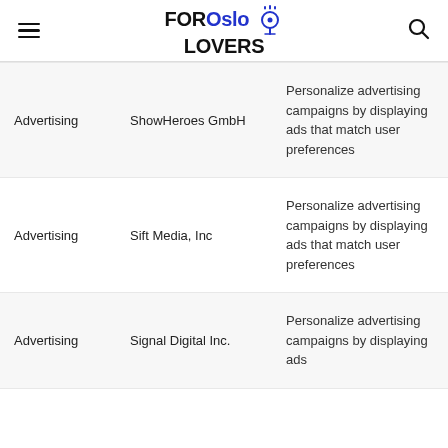FOR Oslo LOVERS
| Category | Company | Description | Link |
| --- | --- | --- | --- |
| Advertising | ShowHeroes GmbH | Personalize advertising campaigns by displaying ads that match user preferences | View |
| Advertising | Sift Media, Inc | Personalize advertising campaigns by displaying ads that match user preferences | View |
| Advertising | Signal Digital Inc. | Personalize advertising campaigns by displaying ads | View |